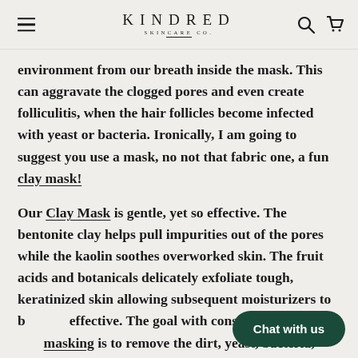KINDRED SKINCARE CO.
environment from our breath inside the mask. This can aggravate the clogged pores and even create folliculitis, when the hair follicles become infected with yeast or bacteria. Ironically, I am going to suggest you use a mask, no not that fabric one, a fun clay mask!
Our Clay Mask is gentle, yet so effective. The bentonite clay helps pull impurities out of the pores while the kaolin soothes overworked skin. The fruit acids and botanicals delicately exfoliate tough, keratinized skin allowing subsequent moisturizers to be more effective. The goal with constant cleansing and masking is to remove the dirt, yeast, bacteria, and